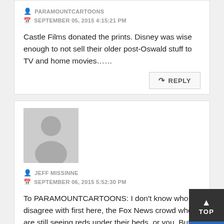PARAMOUNTCARTOONS
SEPTEMBER 05, 2015 4:15:21 PM
Castle Films donated the prints. Disney was wise enough to not sell their older post-Oswald stuff to TV and home movies……
JEFF MISSINNE
SEPTEMBER 06, 2015 5:52:30 PM
To PARAMOUNTCARTOONS: I don't know who to disagree with first here, the Fox News crowd who are still seeing reds under their beds, or you. But rather than politicize this column any further, I'll choose you.
Walt Disney's cartoons certainly were available on TV and home movies in